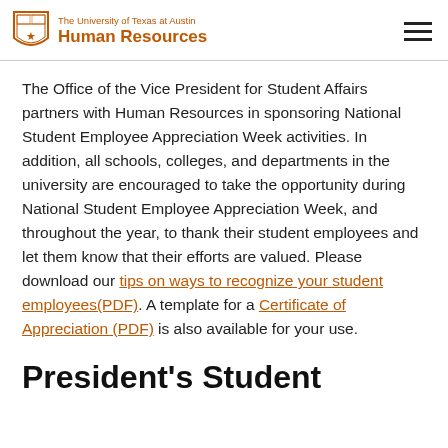The University of Texas at Austin Human Resources
The Office of the Vice President for Student Affairs partners with Human Resources in sponsoring National Student Employee Appreciation Week activities. In addition, all schools, colleges, and departments in the university are encouraged to take the opportunity during National Student Employee Appreciation Week, and throughout the year, to thank their student employees and let them know that their efforts are valued. Please download our tips on ways to recognize your student employees(PDF). A template for a Certificate of Appreciation (PDF) is also available for your use.
President's Student